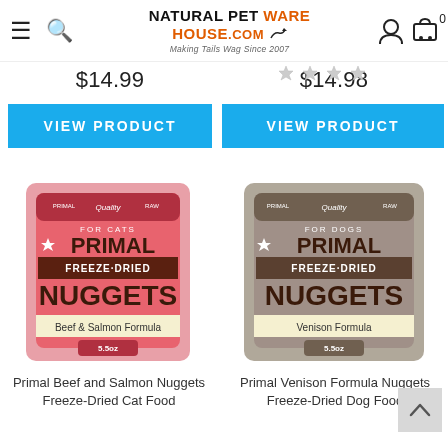Natural Pet Warehouse .com — Making Tails Wag Since 2007
$14.99
$14.98
VIEW PRODUCT
VIEW PRODUCT
[Figure (photo): Primal Freeze-Dried Nuggets Beef & Salmon Formula cat food bag, pink packaging, 5.5oz]
[Figure (photo): Primal Freeze-Dried Nuggets Venison Formula dog food bag, gray/tan packaging, 5.5oz]
Primal Beef and Salmon Nuggets Freeze-Dried Cat Food
Primal Venison Formula Nuggets Freeze-Dried Dog Food